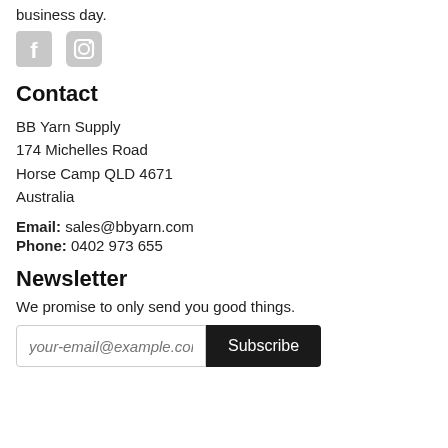business day.
[Figure (illustration): Facebook and Instagram social media icons in light gray]
Contact
BB Yarn Supply
174 Michelles Road
Horse Camp QLD 4671
Australia
Email: sales@bbyarn.com
Phone: 0402 973 655
Newsletter
We promise to only send you good things.
your-email@example.com  Subscribe